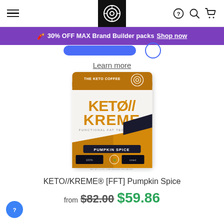Navigation bar with hamburger menu, logo, help icon, search icon, cart icon
🧨 30% OFF MAX Brand Builder packs Shop now
Learn more
[Figure (photo): KETO//KREME Pumpkin Spice product packet — gold/orange colored single-serve packet with THE KETO COFFEE label at top, KETO KREME in large bold text, FUNCTIONAL FAT TECHNOLOGY subtitle, PUMPKIN SPICE label at bottom]
KETO//KREME® [FFT] Pumpkin Spice
from $82.00 $59.86